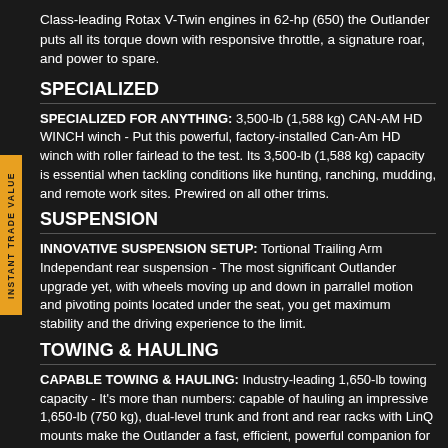Class-leading Rotax V-Twin engines in 62-hp (650) the Outlander puts all its torque down with responsive throttle, a signature roar, and power to spare.
SPECIALIZED
SPECIALIZED FOR ANYTHING: 3,500-lb (1,588 kg) CAN-AM HD WINCH winch - Put this powerful, factory-installed Can-Am HD winch with roller fairlead to the test. Its 3,500-lb (1,588 kg) capacity is essential when tackling conditions like hunting, ranching, mudding, and remote work sites. Prewired on all other trims.
SUSPENSION
INNOVATIVE SUSPENSION SETUP: Tortional Trailing Arm Independant rear suspension - The most significant Outlander upgrade yet, with wheels moving up and down in parrallel motion and pivoting points located under the seat, you get maximum stability and the driving experience to the limit.
TOWING & HAULING
CAPABLE TOWING & HAULING: Industry-leading 1,650-lb towing capacity - It's more than numbers: capable of hauling an impressive 1,650-lb (750 kg), dual-level trunk and front and rear racks with LinQ mounts make the Outlander a fast, efficient, powerful companion for work and play.